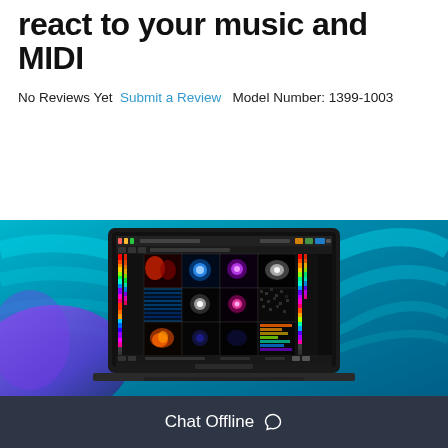react to your music and MIDI
No Reviews Yet  Submit a Review   Model Number: 1399-1003
[Figure (screenshot): Screenshot of a laptop displaying a video/visual software interface with colorful media thumbnails on a dark background, set against a teal/blue abstract swirl background]
Chat Offline